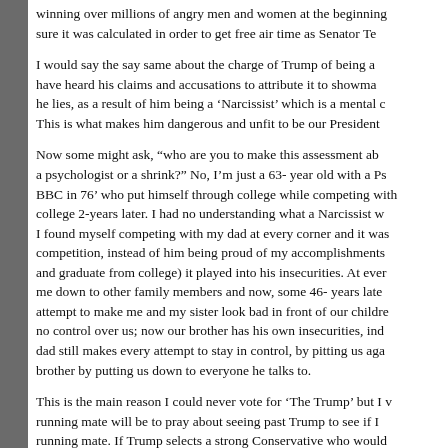winning over millions of angry men and women at the beginning... sure it was calculated in order to get free air time as Senator Te...
I would say the say same about the charge of Trump of being a... have heard his claims and accusations to attribute it to showman... he lies, as a result of him being a 'Narcissist' which is a mental c... This is what makes him dangerous and unfit to be our President...
Now some might ask, "who are you to make this assessment ab... a psychologist or a shrink?" No, I'm just a 63- year old with a Ps... BBC in 76' who put himself through college while competing with... college 2-years later. I had no understanding what a Narcissist w... I found myself competing with my dad at every corner and it was... competition, instead of him being proud of my accomplishments... and graduate from college) it played into his insecurities. At ever... me down to other family members and now, some 46- years late... attempt to make me and my sister look bad in front of our childre... no control over us; now our brother has his own insecurities, ind... dad still makes every attempt to stay in control, by pitting us aga... brother by putting us down to everyone he talks to.
This is the main reason I could never vote for 'The Trump' but I v... running mate will be to pray about seeing past Trump to see if I... running mate. If Trump selects a strong Conservative who would... elected like Governor Huckabee, I would vote for that ticket to b...
LOG IN TO REPLY